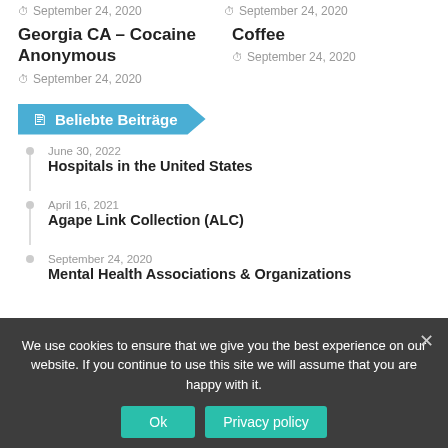September 24, 2020 | September 24, 2020
Georgia CA – Cocaine Anonymous
September 24, 2020
Coffee
September 24, 2020
Beliebte Beiträge
June 30, 2022
Hospitals in the United States
April 16, 2021
Agape Link Collection (ALC)
September 24, 2020
Mental Health Associations & Organizations
We use cookies to ensure that we give you the best experience on our website. If you continue to use this site we will assume that you are happy with it.